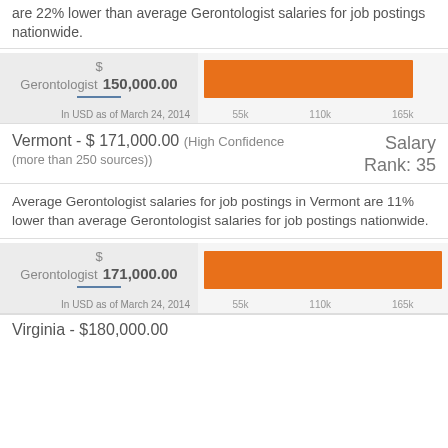are 22% lower than average Gerontologist salaries for job postings nationwide.
[Figure (bar-chart): Gerontologist $150,000.00]
Vermont - $ 171,000.00 (High Confidence (more than 250 sources))
Salary Rank: 35
Average Gerontologist salaries for job postings in Vermont are 11% lower than average Gerontologist salaries for job postings nationwide.
[Figure (bar-chart): Gerontologist $171,000.00]
Virginia - $180,000.00